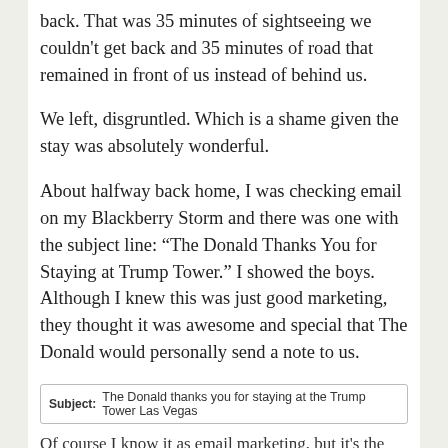back. That was 35 minutes of sightseeing we couldn't get back and 35 minutes of road that remained in front of us instead of behind us.
We left, disgruntled. Which is a shame given the stay was absolutely wonderful.
About halfway back home, I was checking email on my Blackberry Storm and there was one with the subject line: “The Donald Thanks You for Staying at Trump Tower.” I showed the boys. Although I knew this was just good marketing, they thought it was awesome and special that The Donald would personally send a note to us.
[Figure (screenshot): Email subject line reading: 'Subject: The Donald thanks you for staying at the Trump Tower Las Vegas']
Of course I know it as email marketing, but it's the fact our